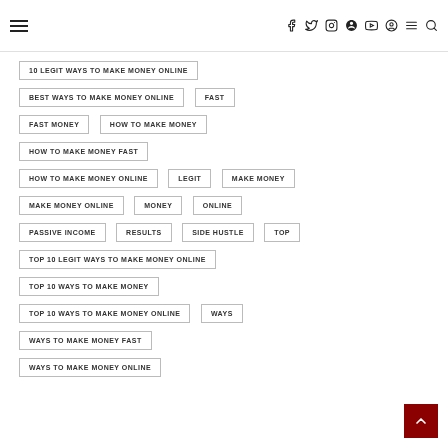Navigation header with hamburger menu and social icons
10 LEGIT WAYS TO MAKE MONEY ONLINE
BEST WAYS TO MAKE MONEY ONLINE
FAST
FAST MONEY
HOW TO MAKE MONEY
HOW TO MAKE MONEY FAST
HOW TO MAKE MONEY ONLINE
LEGIT
MAKE MONEY
MAKE MONEY ONLINE
MONEY
ONLINE
PASSIVE INCOME
RESULTS
SIDE HUSTLE
TOP
TOP 10 LEGIT WAYS TO MAKE MONEY ONLINE
TOP 10 WAYS TO MAKE MONEY
TOP 10 WAYS TO MAKE MONEY ONLINE
WAYS
WAYS TO MAKE MONEY FAST
WAYS TO MAKE MONEY ONLINE